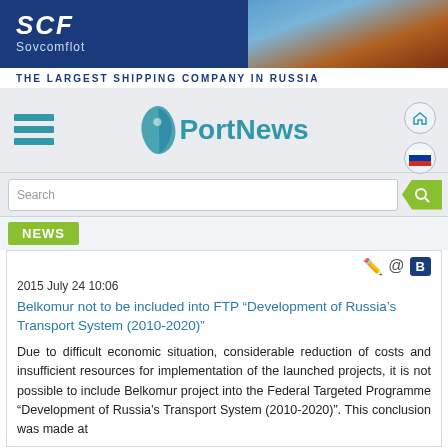[Figure (logo): SCF Sovcomflot banner ad with ship and tagline 'THE LARGEST SHIPPING COMPANY IN RUSSIA']
[Figure (logo): PortNews website navigation header with hamburger menu, PortNews logo, home icon and Russian flag icon]
Search
NEWS
2015 July 24 10:06
Belkomur not to be included into FTP “Development of Russia’s Transport System (2010-2020)”
Due to difficult economic situation, considerable reduction of costs and insufficient resources for implementation of the launched projects, it is not possible to include Belkomur project into the Federal Targeted Programme “Development of Russia’s Transport System (2010-2020)”. This conclusion was made at